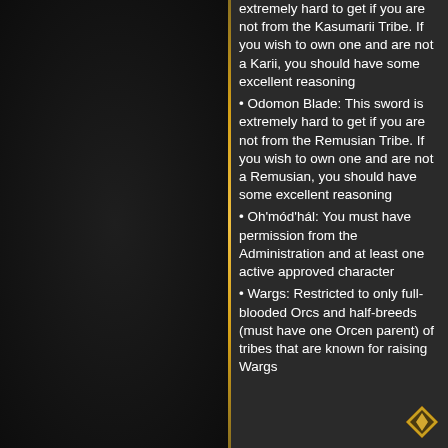extremely hard to get if you are not from the Kasumarii Tribe. If you wish to own one and are not a Karii, you should have some excellent reasoning
Odomon Blade: This sword is extremely hard to get if you are not from the Remusian Tribe. If you wish to own one and are not a Remusian, you should have some excellent reasoning
Oh'mód'hál: You must have permission from the Administration and at least one active approved character
Wargs: Restricted to only full-blooded Orcs and half-breeds (must have one Orcen parent) of tribes that are known for raising Wargs
[Figure (illustration): Navigation arrow icon at bottom right of page]